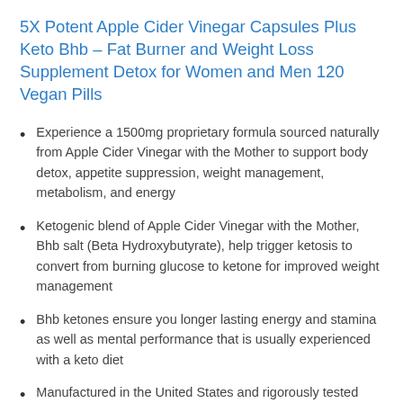5X Potent Apple Cider Vinegar Capsules Plus Keto Bhb – Fat Burner and Weight Loss Supplement Detox for Women and Men 120 Vegan Pills
Experience a 1500mg proprietary formula sourced naturally from Apple Cider Vinegar with the Mother to support body detox, appetite suppression, weight management, metabolism, and energy
Ketogenic blend of Apple Cider Vinegar with the Mother, Bhb salt (Beta Hydroxybutyrate), help trigger ketosis to convert from burning glucose to ketone for improved weight management
Bhb ketones ensure you longer lasting energy and stamina as well as mental performance that is usually experienced with a keto diet
Manufactured in the United States and rigorously tested